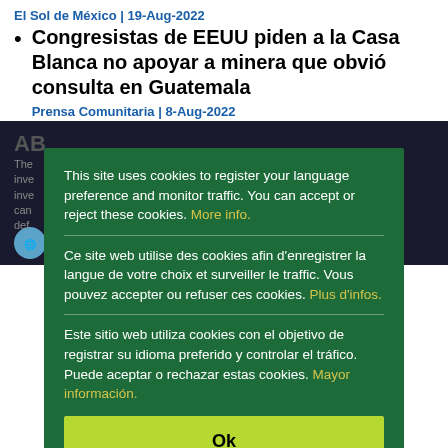El Sol de México | 19-Aug-2022
Congresistas de EEUU piden a la Casa Blanca no apoyar a minera que obvió consulta en Guatemala
Prensa Comunitaria | 8-Aug-2022
This site uses cookies to register your language preference and monitor traffic. You can accept or reject these cookies. More info.

Ce site web utilise des cookies afin d'enregistrer la langue de votre choix et surveiller le traffic. Vous pouvez accepter ou refuser ces cookies. Plus d'infos.

Este sitio web utiliza cookies con el objetivo de registrar su idioma preferido y controlar el tráfico. Puede aceptar o rechazar estas cookies. Mayor información.
Ok
AB
bilaterals.org